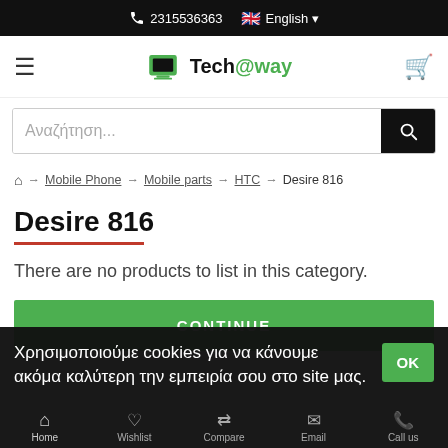2315536363  English
[Figure (logo): Tech@way logo with green laptop icon]
Αναζήτηση...
Home → Mobile Phone → Mobile parts → HTC → Desire 816
Desire 816
There are no products to list in this category.
CONTINUE
Χρησιμοποιούμε cookies για να κάνουμε ακόμα καλύτερη την εμπειρία σου στο site μας.
Home  Wishlist  Compare  Email  Call us